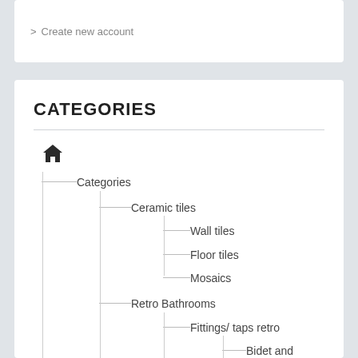> Create new account
CATEGORIES
[Figure (organizational-chart): Hierarchical category tree showing: home icon at root, then Categories, then Ceramic tiles (with Wall tiles, Floor tiles, Mosaics), then Retro Bathrooms (with Fittings/ taps retro, then Bidet and washbasin taps retro)]